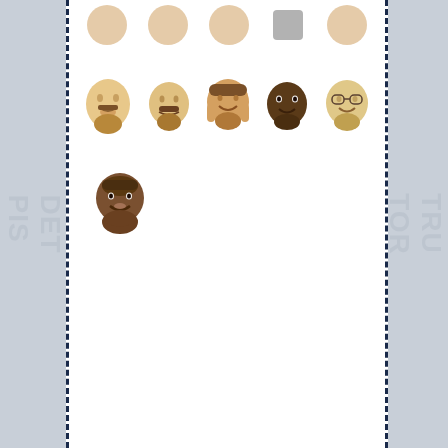[Figure (illustration): Row of cartoon face emojis (top row, partially cropped at top)]
[Figure (illustration): Row of five cartoon illustrated face emojis representing various people]
[Figure (illustration): Single dark cartoon face emoji]
Tweets from @Need4Sheed_com
Need4Sheed Detroit @Need4Sheed_com · Jul 12
The subtle appreciation of #Sheed @trailblazers and @DetroitPistons fans know this already. nba.nbcsports.com/2022/07/12/and…
[Figure (photo): Basketball game photo showing players on court]